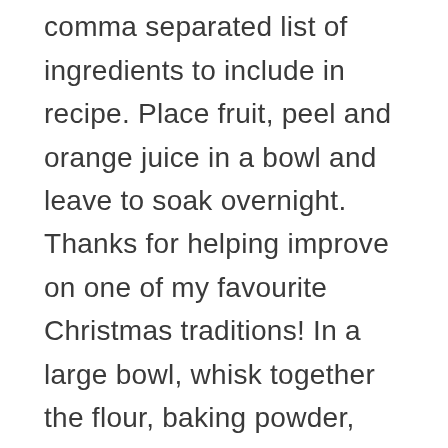orange and almond fruit to comma separated list of ingredients to include in recipe. Place fruit, peel and orange juice in a bowl and leave to soak overnight. Thanks for helping improve on one of my favourite Christmas traditions! In a large bowl, whisk together the flour, baking powder, salt, cinnamon, and coconut sugar. 2. I liked this one the best. Add comma separated list of ingredients to exclude from recipe. Food And Drink. Step ten: Spread the orange glaze on the cranberry loaf. On a side note, I accidently added only 1/2 cup sugar to the bread and it still came out delightful! Your daily values may be higher or lower depending on your calorie